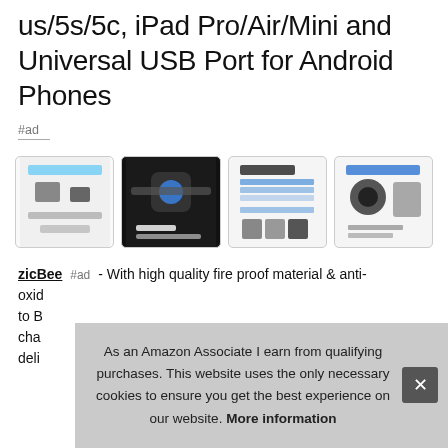us/5s/5c, iPad Pro/Air/Mini and Universal USB Port for Android Phones
#ad
[Figure (photo): Four product thumbnail images of a car charger device showing compatibility and features]
zicBee #ad - With high quality fire proof material & anti-oxid... to B... cha... deli...
As an Amazon Associate I earn from qualifying purchases. This website uses the only necessary cookies to ensure you get the best experience on our website. More information